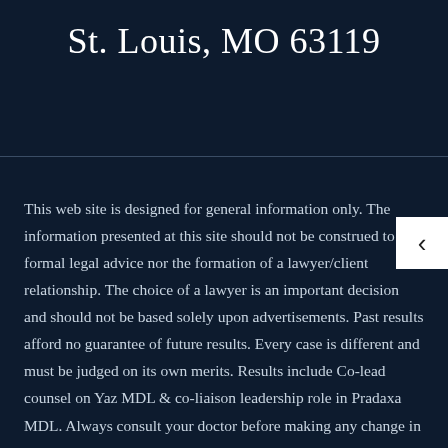St. Louis, MO 63119
This web site is designed for general information only. The information presented at this site should not be construed to be formal legal advice nor the formation of a lawyer/client relationship. The choice of a lawyer is an important decision and should not be based solely upon advertisements. Past results afford no guarantee of future results. Every case is different and must be judged on its own merits. Results include Co-lead counsel on Yaz MDL & co-liaison leadership role in Pradaxa MDL. Always consult your doctor before making any change in medication.